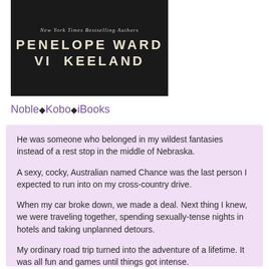[Figure (illustration): Book cover with dark background showing authors' names. Text reads 'New York Times Bestselling Authors' in italic at top, then 'PENELOPE WARD' and 'VI KEELAND' in large bold white letters.]
Noble◆Kobo◆iBooks
He was someone who belonged in my wildest fantasies instead of a rest stop in the middle of Nebraska.
A sexy, cocky, Australian named Chance was the last person I expected to run into on my cross-country drive.
When my car broke down, we made a deal. Next thing I knew, we were traveling together, spending sexually-tense nights in hotels and taking unplanned detours.
My ordinary road trip turned into the adventure of a lifetime. It was all fun and games until things got intense.